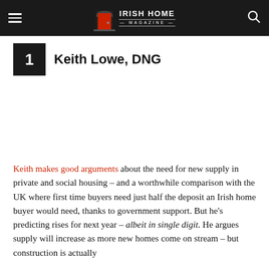Irish Home Magazine
1  Keith Lowe, DNG
Keith makes good arguments about the need for new supply in private and social housing – and a worthwhile comparison with the UK where first time buyers need just half the deposit an Irish home buyer would need, thanks to government support. But he's predicting rises for next year – albeit in single digit. He argues supply will increase as more new homes come on stream – but construction is actually